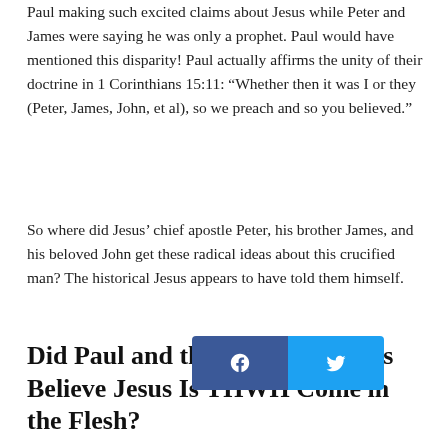Paul making such excited claims about Jesus while Peter and James were saying he was only a prophet. Paul would have mentioned this disparity! Paul actually affirms the unity of their doctrine in 1 Corinthians 15:11: “Whether then it was I or they (Peter, James, John, et al), so we preach and so you believed.”
So where did Jesus’ chief apostle Peter, his brother James, and his beloved John get these radical ideas about this crucified man? The historical Jesus appears to have told them himself.
Did Paul and the Gospel Authors Believe Jesus Is YHWH Come in the Flesh?